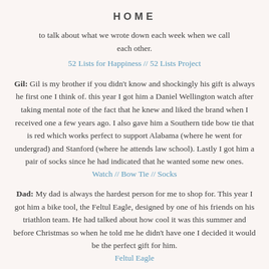HOME
to talk about what we wrote down each week when we call each other.
52 Lists for Happiness // 52 Lists Project
Gil: Gil is my brother if you didn't know and shockingly his gift is always he first one I think of. this year I got him a Daniel Wellington watch after taking mental note of the fact that he knew and liked the brand when I received one a few years ago. I also gave him a Southern tide bow tie that is red which works perfect to support Alabama (where he went for undergrad) and Stanford (where he attends law school). Lastly I got him a pair of socks since he had indicated that he wanted some new ones.
Watch // Bow Tie // Socks
Dad: My dad is always the hardest person for me to shop for. This year I got him a bike tool, the Feltul Eagle, designed by one of his friends on his triathlon team. He had talked about how cool it was this summer and before Christmas so when he told me he didn't have one I decided it would be the perfect gift for him.
Feltul Eagle
Mom: Sometimes parents ask for very boring presents and this year my mom did just that. She wanted some new